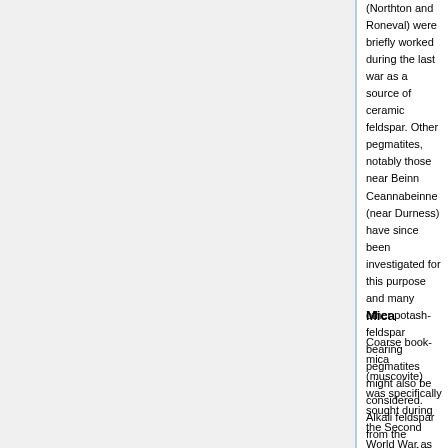(Northton and Roneval) were briefly worked during the last war as a source of ceramic feldspar. Other pegmatites, notably those near Beinn Ceannabeinne (near Durness) have since been investigated for this purpose and many other potash-feldspar bearing pegmatites might also be considered. Alkali feldspar from the syenites of the Alkaline Suite (p.102), potentially a greater and more easily worked resource, has proved unsatisfactory because of the high proportion of iron-containing minerals present in these rocks.
Mica
Coarse book-mica (muscovite) was specifically sought during the Second World War as material for electrical insulation...